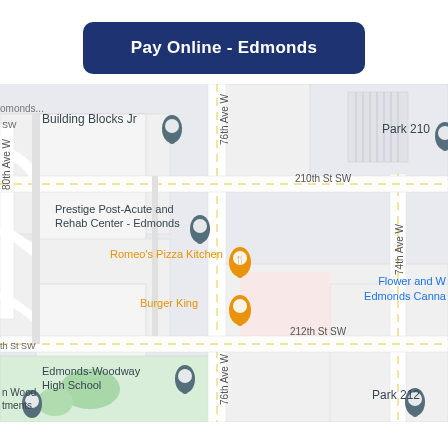Pay Online - Edmonds
[Figure (map): Google Maps screenshot showing area around Edmonds, WA with landmarks including Building Blocks Jr, Prestige Post-Acute and Rehab Center - Edmonds, Romeo's Pizza Kitchen, Burger King, Edmonds-Woodway High School, Park 210, Park 212, Flower and W, Edmonds Canna. Streets visible include 80th Ave W, 76th Ave W, 74th Ave W, 210th St SW, 212th St SW.]